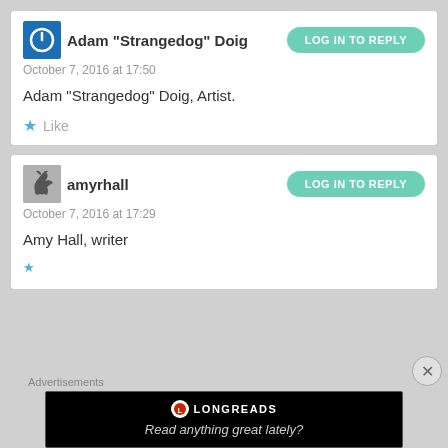Adam "Strangedog" Doig
October 7, 2016 at 17:50
Adam “Strangedog” Doig, Artist.
Like
amyrhall
October 7, 2016 at 17:29
Amy Hall, writer
Advertisements
LONGREADS
Read anything great lately?